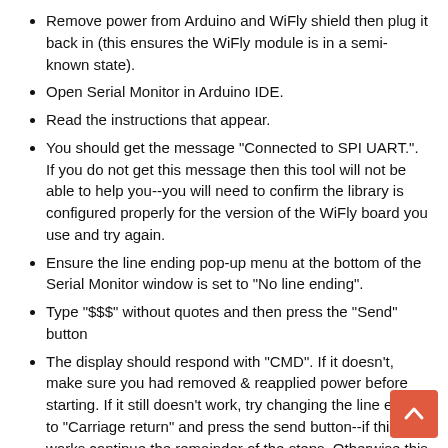Remove power from Arduino and WiFly shield then plug it back in (this ensures the WiFly module is in a semi-known state).
Open Serial Monitor in Arduino IDE.
Read the instructions that appear.
You should get the message "Connected to SPI UART.". If you do not get this message then this tool will not be able to help you--you will need to confirm the library is configured properly for the version of the WiFly board you use and try again.
Ensure the line ending pop-up menu at the bottom of the Serial Monitor window is set to "No line ending".
Type "$$$" without quotes and then press the "Send" button
The display should respond with "CMD". If it doesn't, make sure you had removed & reapplied power before starting. If it still doesn't work, try changing the line ending to "Carriage return" and press the send button--if this works continue the remainder of the steps. Otherwise this tool will not be able to help you.
Change the line ending to "Carriage return" and press